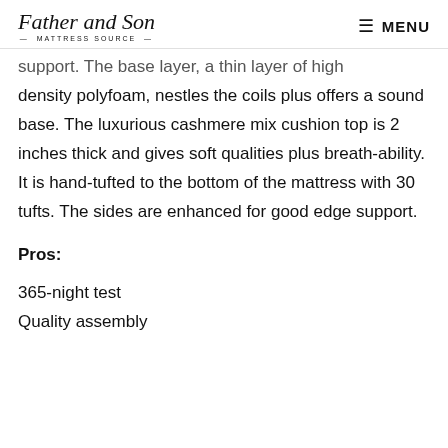Father and Son MATTRESS SOURCE — MENU
support. The base layer, a thin layer of high density polyfoam, nestles the coils plus offers a sound base. The luxurious cashmere mix cushion top is 2 inches thick and gives soft qualities plus breath-ability. It is hand-tufted to the bottom of the mattress with 30 tufts. The sides are enhanced for good edge support.
Pros:
365-night test
Quality assembly